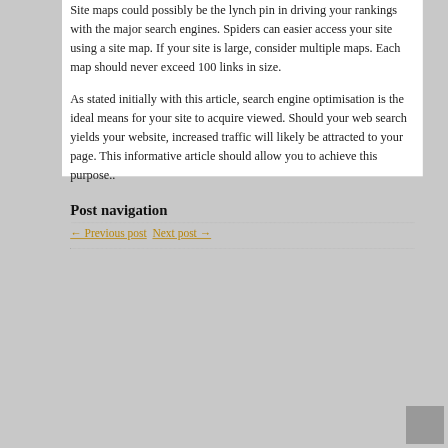Site maps could possibly be the lynch pin in driving your rankings with the major search engines. Spiders can easier access your site using a site map. If your site is large, consider multiple maps. Each map should never exceed 100 links in size.
As stated initially with this article, search engine optimisation is the ideal means for your site to acquire viewed. Should your web search yields your website, increased traffic will likely be attracted to your page. This informative article should allow you to achieve this purpose..
Post navigation
← Previous post   Next post →